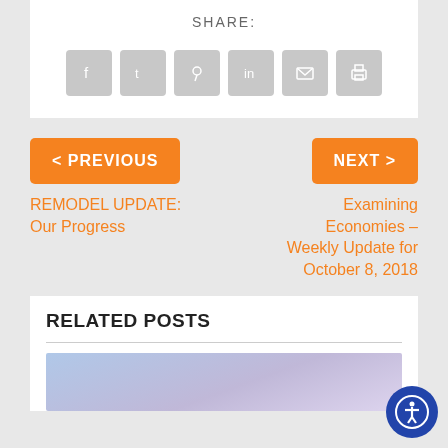SHARE:
[Figure (infographic): Social share icons: Facebook, Twitter, Pinterest, LinkedIn, Email, Print — all in gray rounded square buttons]
< PREVIOUS
REMODEL UPDATE: Our Progress
NEXT >
Examining Economies – Weekly Update for October 8, 2018
RELATED POSTS